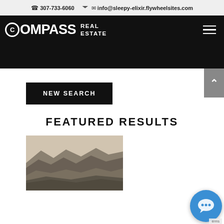☎ 307-733-6060  ✉ info@sleepy-elixir.flywheelsites.com
[Figure (logo): Compass Real Estate logo with hamburger menu on black background]
NEW SEARCH
FEATURED RESULTS
[Figure (photo): Desert sand dunes / mountain landscape with hazy sky]